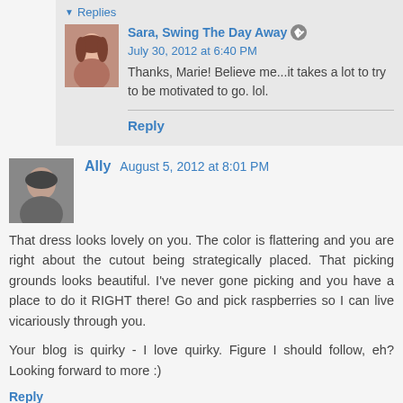▼ Replies
Sara, Swing The Day Away [edit icon] July 30, 2012 at 6:40 PM
Thanks, Marie! Believe me...it takes a lot to try to be motivated to go. lol.
Reply
Ally August 5, 2012 at 8:01 PM
That dress looks lovely on you. The color is flattering and you are right about the cutout being strategically placed. That picking grounds looks beautiful. I've never gone picking and you have a place to do it RIGHT there! Go and pick raspberries so I can live vicariously through you.

Your blog is quirky - I love quirky. Figure I should follow, eh? Looking forward to more :)
Reply